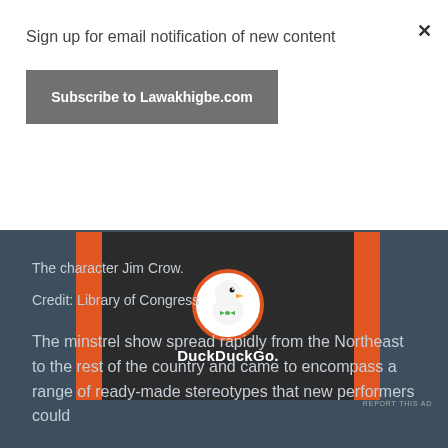Sign up for email notification of new content
Subscribe to Lawakhigbe.com
[Figure (logo): DuckDuckGo advertisement banner with duck logo on dark background with orange side bars]
REPORT THIS AD
The character Jim Crow.
Credit: Library of Congress
The minstrel show spread rapidly from the Northeast to the rest of the country and came to encompass a range of ready-made stereotypes that new performers could